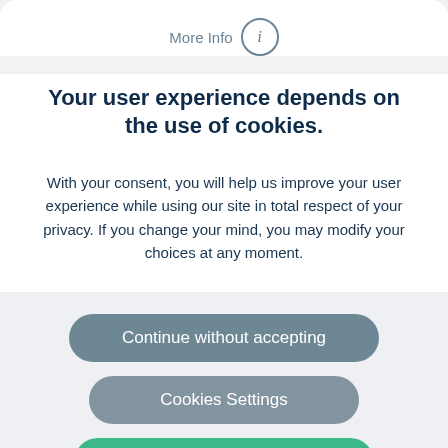More Info
Your user experience depends on the use of cookies.
With your consent, you will help us improve your user experience while using our site in total respect of your privacy. If you change your mind, you may modify your choices at any moment.
Continue without accepting
Cookies Settings
Accept and continue
PERMIT. OUR IMPLEMENT PARTNERS TO OFFER YOU THE